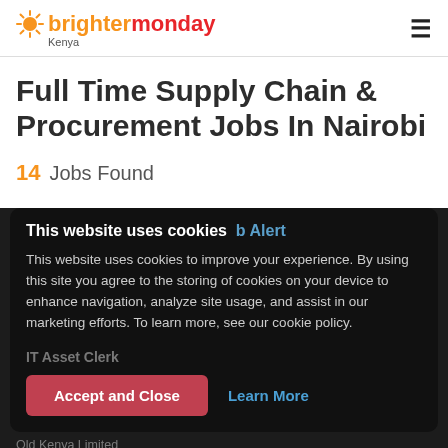brightermonday Kenya
Full Time Supply Chain & Procurement Jobs In Nairobi
14  Jobs Found
This website uses cookies
This website uses cookies to improve your experience. By using this site you agree to the storing of cookies on your device to enhance navigation, analyze site usage, and assist in our marketing efforts. To learn more, see our cookie policy.
Accept and Close
Learn More
IT Asset Clerk
Old Kenya Limited
Nairobi — Full Time
KSh Confidential